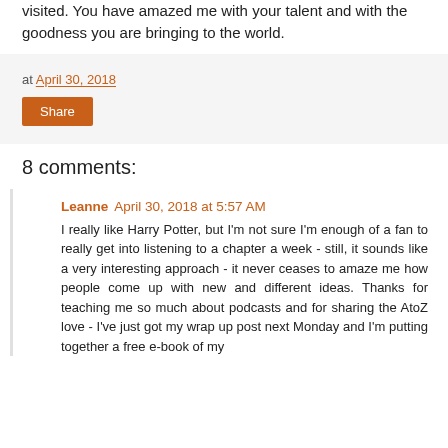visited. You have amazed me with your talent and with the goodness you are bringing to the world.
at April 30, 2018
Share
8 comments:
Leanne April 30, 2018 at 5:57 AM
I really like Harry Potter, but I'm not sure I'm enough of a fan to really get into listening to a chapter a week - still, it sounds like a very interesting approach - it never ceases to amaze me how people come up with new and different ideas. Thanks for teaching me so much about podcasts and for sharing the AtoZ love - I've just got my wrap up post next Monday and I'm putting together a free e-book of my